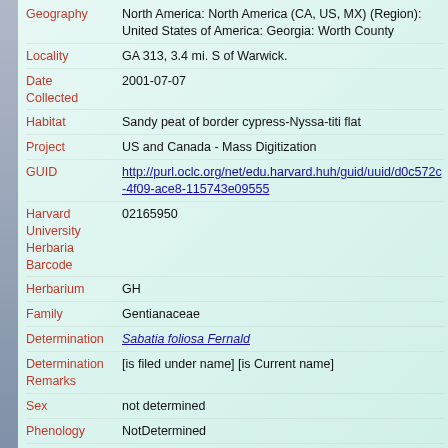| Field | Value |
| --- | --- |
| Geography | North America: North America (CA, US, MX) (Region): United States of America: Georgia: Worth County |
| Locality | GA 313, 3.4 mi. S of Warwick. |
| Date Collected | 2001-07-07 |
| Habitat | Sandy peat of border cypress-Nyssa-titi flat |
| Project | US and Canada - Mass Digitization |
| GUID | http://purl.oclc.org/net/edu.harvard.huh/guid/uuid/d0c572c-4f09-ace8-115743e09555 |
| Harvard University Herbaria Barcode | 02165950 |
| Herbarium | GH |
| Family | Gentianaceae |
| Determination | Sabatia foliosa Fernald |
| Determination Remarks | [is filed under name] [is Current name] |
| Sex | not determined |
| Phenology | NotDetermined |
| Preparation Type | Sheet |